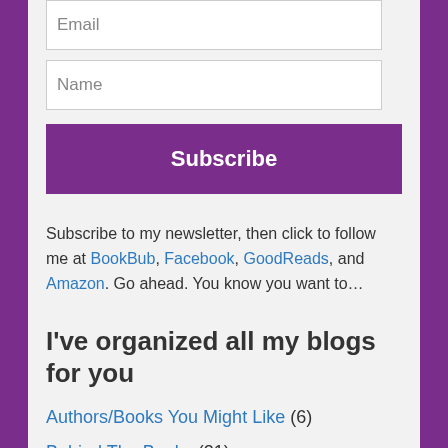Email
Name
Subscribe
Subscribe to my newsletter, then click to follow me at BookBub, Facebook, GoodReads, and Amazon. Go ahead. You know you want to…
I've organized all my blogs for you
Authors/Books You Might Like (6)
Behind The Books (21)
Favorite Stuff I Read (2)
Giveaways (2)